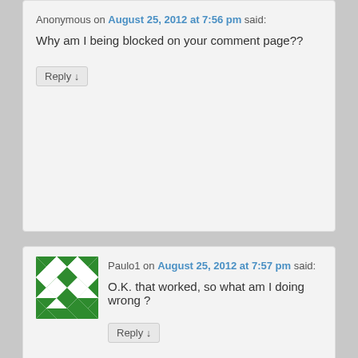Anonymous on August 25, 2012 at 7:56 pm said:
Why am I being blocked on your comment page??
Reply ↓
[Figure (illustration): Green and white geometric mosaic avatar (identicon) for Paulo1]
Paulo1 on August 25, 2012 at 7:57 pm said:
O.K. that worked, so what am I doing wrong ?
Reply ↓
[Figure (illustration): Green and white geometric mosaic avatar (identicon) for third commenter]